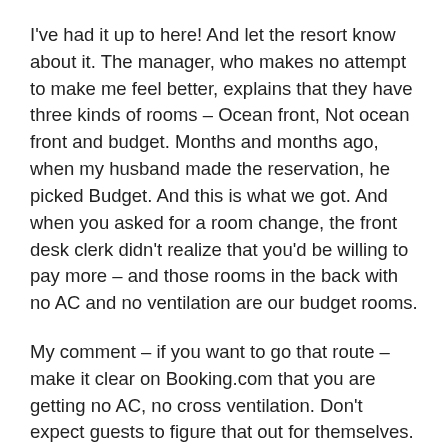I've had it up to here! And let the resort know about it. The manager, who makes no attempt to make me feel better, explains that they have three kinds of rooms – Ocean front, Not ocean front and budget. Months and months ago, when my husband made the reservation, he picked Budget. And this is what we got. And when you asked for a room change, the front desk clerk didn't realize that you'd be willing to pay more – and those rooms in the back with no AC and no ventilation are our budget rooms.
My comment – if you want to go that route – make it clear on Booking.com that you are getting no AC, no cross ventilation. Don't expect guests to figure that out for themselves. She does admit that she's been trying to convince the owners of the hotel that they need to be more careful. Nice – now it's the owner's fault!